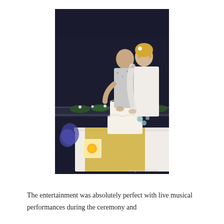[Figure (photo): A couple cutting their wedding cake at an outdoor nighttime ceremony. The groom is wearing a floral patterned shirt and the bride is in a white outfit with a shawl. A lit lantern and wedding cake decorated with white frosting are on a table with a white tablecloth. A yellow table runner is visible, and greenery and flowers decorate the venue in the background. A watermark reads 'backpackbees.com'.]
The entertainment was absolutely perfect with live musical performances during the ceremony and